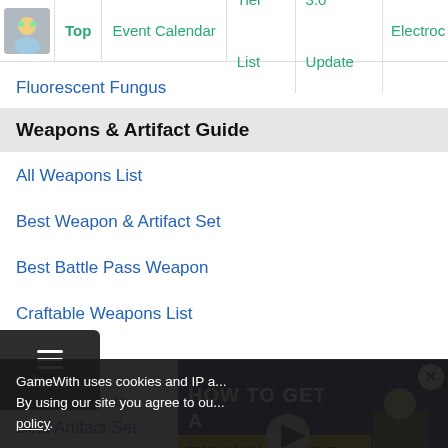Top | Event Calendar | Tier List | 3.0 Update | Electroc
Fluorescent Fungus
Weapons & Artifact Guide
All Weapons List
Best Weapon & Artifact Set
Best Battle Pass Weapon
Craftable Weapons List
act List
Artifacts Guide
Best Artifact Set
[Figure (screenshot): Video thumbnail showing 'HOW TO GET A FISHING ROD' with a game character and play button overlay]
GameWith uses cookies and IP a...
By using our site you agree to ou...
policy.